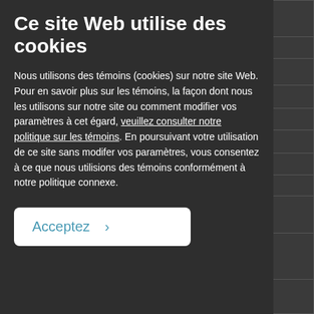[Figure (screenshot): Cookie consent modal overlay on top of a partially visible government website table. The modal has a dark background with French text.]
Ce site Web utilise des cookies
Nous utilisons des témoins (cookies) sur notre site Web. Pour en savoir plus sur les témoins, la façon dont nous les utilisons sur notre site ou comment modifier vos paramètres à cet égard, veuillez consulter notre politique sur les témoins. En poursuivant votre utilisation de ce site sans modifer vos paramètres, vous consentez à ce que nous utilisions des témoins conformément à notre politique connexe.
Acceptez >
| House of Commons | June 20, 2019 | Bill C-100, A(mend...) |
| --- | --- | --- |